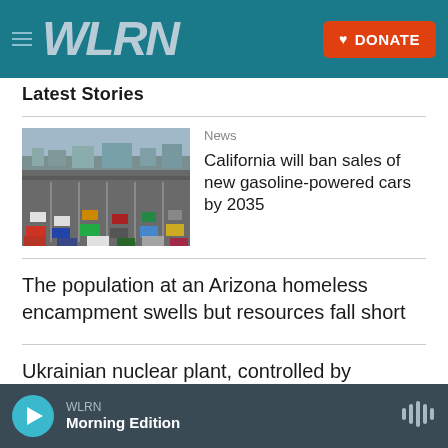WLRN   DONATE
Latest Stories
News
California will ban sales of new gasoline-powered cars by 2035
[Figure (photo): Aerial view of heavy traffic on a multi-lane freeway]
The population at an Arizona homeless encampment swells but resources fall short
Ukrainian nuclear plant, controlled by Russian forces, temporarily went off line
WLRN  Morning Edition